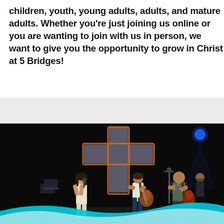children, youth, young adults, adults, and mature adults. Whether you're just joining us online or you are wanting to join with us in person, we want to give you the opportunity to grow in Christ at 5 Bridges!
[Figure (photo): Church worship band performing on a dark stage with a large illuminated cross backdrop. A female vocalist on the left, a guitarist in the center, and another guitarist with a microphone on the right. A blue stage light is visible in the upper right. A teal/cyan decorative wave swoosh overlays the bottom of the image.]